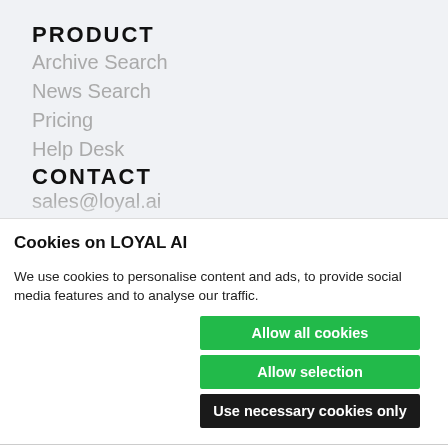PRODUCT
Archive Search
News Search
Pricing
Help Desk
CONTACT
sales@loyal.ai (partial)
Cookies on LOYAL AI
We use cookies to personalise content and ads, to provide social media features and to analyse our traffic.
Allow all cookies
Allow selection
Use necessary cookies only
Necessary  Preferences  Statistics  Marketing  Show details